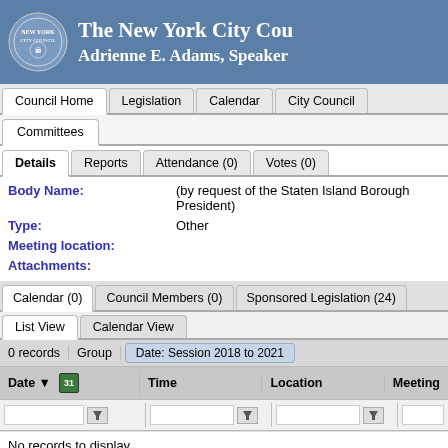The New York City Council — Adrienne E. Adams, Speaker
Council Home | Legislation | Calendar | City Council
Committees
Details | Reports | Attendance (0) | Votes (0)
Body Name: (by request of the Staten Island Borough President)
Type: Other
Meeting location:
Attachments:
Calendar (0) | Council Members (0) | Sponsored Legislation (24)
List View | Calendar View
0 records | Group | Date: Session 2018 to 2021
Date | Time | Location | Meeting
No records to display.